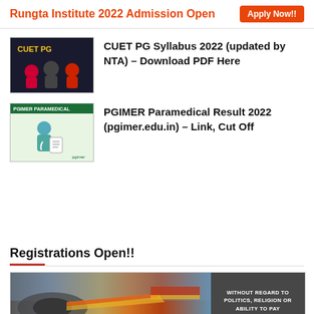Rungta Institute 2022 Admission Open   Apply Now!!
CUET PG Syllabus 2022 (updated by NTA) – Download PDF Here
[Figure (illustration): CUET PG thumbnail with dark background, yellow CUET PG text, and illustrated student figures]
PGIMER Paramedical Result 2022 (pgimer.edu.in) – Link, Cut Off
[Figure (illustration): PGIMER Paramedical thumbnail with green label bar and illustrated medical figure]
Registrations Open!!
[Figure (photo): Advertisement banner showing an airplane being loaded with cargo, with a dark overlay reading WITHOUT REGARD TO POLITICS, RELIGION OR ABILITY TO PAY]